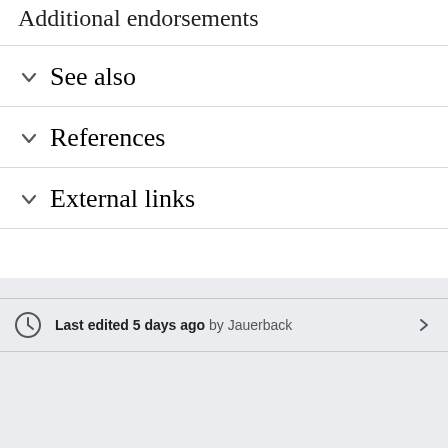Additional endorsements
See also
References
External links
Last edited 5 days ago by Jauerback